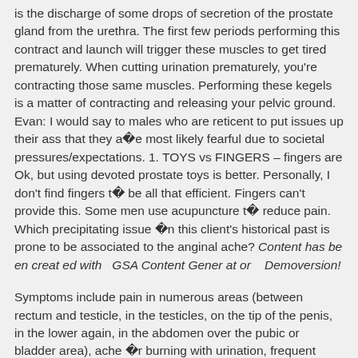is the discharge of some drops of secretion of the prostate gland from the urethra. The first few periods performing this contract and launch will trigger these muscles to get tired prematurely. When cutting urination prematurely, you're contracting those same muscles. Performing these kegels is a matter of contracting and releasing your pelvic ground. Evan: I would say to males who are reticent to put issues up their ass that they are most likely fearful due to societal pressures/expectations. 1. TOYS vs FINGERS – fingers are Ok, but using devoted prostate toys is better. Personally, I don't find fingers to be all that efficient. Fingers can't provide this. Some men use acupuncture to reduce pain. Which precipitating issue in this client's historical past is prone to be associated to the anginal ache? Content has been created with GSA Content Generator Demoversion!
Symptoms include pain in numerous areas (between rectum and testicle, in the testicles, on the tip of the penis, in the lower again, in the abdomen over the pubic or bladder area), ache or burning with urination, frequent urination, ache or discomfort during or after sexual climax. Chemotherapy or surgical procedure can damage nerves, which could cause severe pain. This could cause